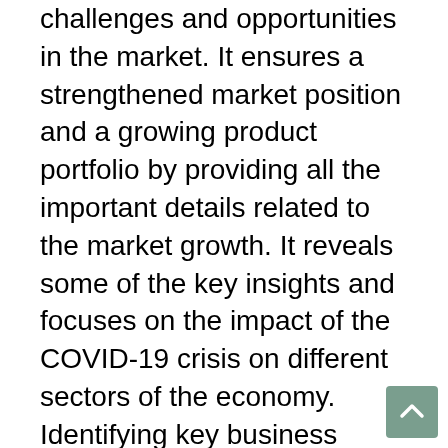challenges and opportunities in the market. It ensures a strengthened market position and a growing product portfolio by providing all the important details related to the market growth. It reveals some of the key insights and focuses on the impact of the COVID-19 crisis on different sectors of the economy. Identifying key business areas is the single most important factor in improving those areas and generating greater profits. This living market research provides an in-depth understanding of how new product offerings can fit into the market. It acts as the best guide and plays the leading role in almost all phases of the business cycle. It also becomes easy to effectively target customers to easily launch new products. This Digital Lending Platform Market reports another key focus is to provide manufacturing solutions at all provincial and global levels.
A comprehensive overview of market conditions and